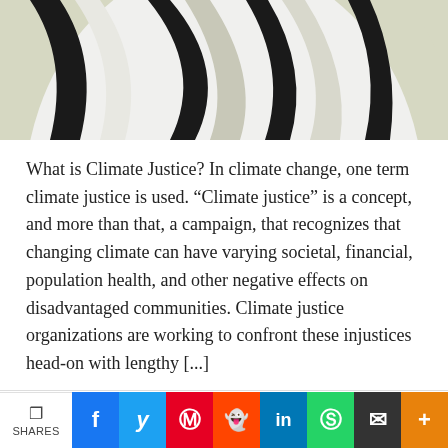[Figure (illustration): Stylized illustration showing curved black and white shapes (resembling a globe or wind turbine blades) on a light olive/beige background, partially cropped at top of page.]
What is Climate Justice? In climate change, one term climate justice is used. “Climate justice” is a concept, and more than that, a campaign, that recognizes that changing climate can have varying societal, financial, population health, and other negative effects on disadvantaged communities. Climate justice organizations are working to confront these injustices head-on with lengthy [...]
f  🐦  in  Ⓟ    Continue Reading
SHARES  f  🐦  Ⓟ  reddit  in  WhatsApp  ✉  +